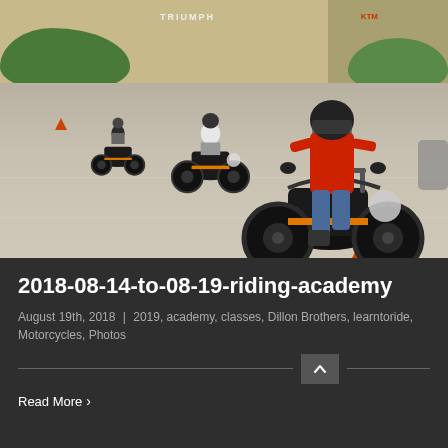[Figure (photo): Motorcycle riders in a parking lot practicing riding skills at a Harley-Davidson riding academy. Multiple riders on black motorcycles lined up. Building in background with Triumph and KTM signs. Traffic cones visible.]
2018-08-14-to-08-19-riding-academy
August 19th, 2018  |  2019, academy, classes, Dillon Brothers, learntoride, Motorcycles, Photos
Read More >